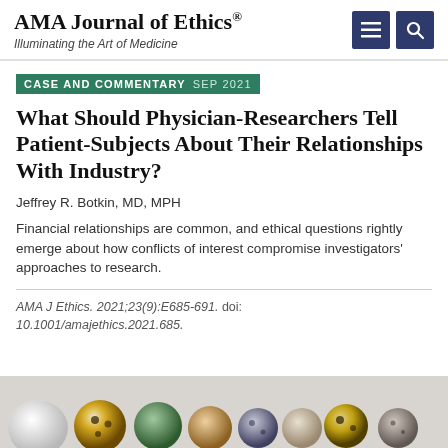AMA Journal of Ethics® Illuminating the Art of Medicine
CASE AND COMMENTARY SEP 2021
What Should Physician-Researchers Tell Patient-Subjects About Their Relationships With Industry?
Jeffrey R. Botkin, MD, MPH
Financial relationships are common, and ethical questions rightly emerge about how conflicts of interest compromise investigators' approaches to research.
AMA J Ethics. 2021;23(9):E685-691. doi: 10.1001/amajethics.2021.685.
[Figure (photo): Partial view of a row of decorative beads or spherical objects in various colors and textures on a light background]